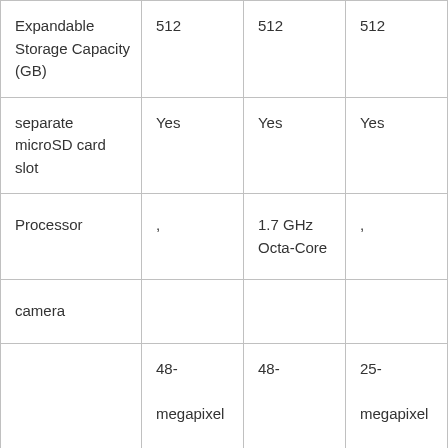| Expandable Storage Capacity (GB) | 512 | 512 | 512 |
| separate microSD card slot | Yes | Yes | Yes |
| Processor | , | 1.7 GHz Octa-Core | , |
| camera |  |  |  |
|  | 48-megapixel (f/2.0) + | 48- | 25-megapixel |